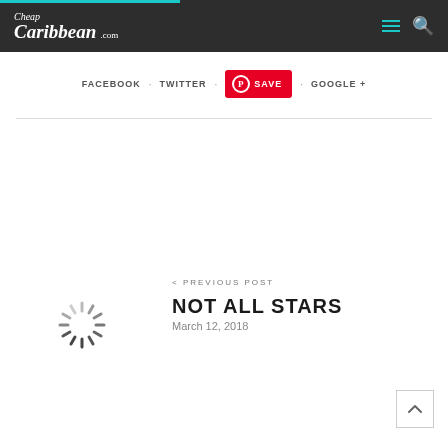Cheap Caribbean .com
FACEBOOK · TWITTER · SAVE · GOOGLE +
< PREVIOUS POST
NOT ALL STARS
March 12, 2018
[Figure (other): Loading spinner icon]
[Figure (other): Back to top arrow button]